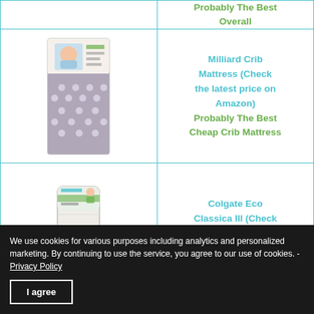| Image | Product |
| --- | --- |
| [image: mattress product box] | Milliard Crib Mattress (Check the latest price on Amazon)
Probably The Best Cheap Crib Mattress |
| [image: Colgate Eco Classica III mattress] | Colgate Eco Classica III (Check the latest price on Amazon) |
We use cookies for various purposes including analytics and personalized marketing. By continuing to use the service, you agree to our use of cookies. - Privacy Policy
I agree